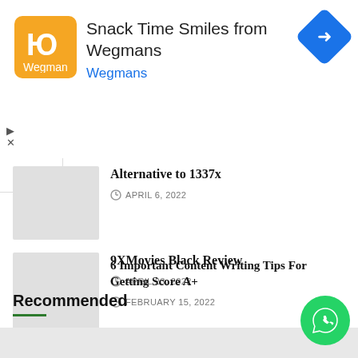[Figure (infographic): Advertisement banner for Snack Time Smiles from Wegmans with orange logo, navigation arrow icon, and play/close controls]
Alternative to 1337x
APRIL 6, 2022
9XMovies Black Review
APRIL 23, 2022
6 Important Content Writing Tips For Getting Score A+
FEBRUARY 15, 2022
Recommended
[Figure (photo): Thumbnail image placeholder at bottom]